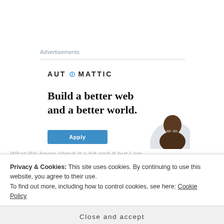Advertisements
[Figure (illustration): Automattic advertisement banner with logo, headline 'Build a better web and a better world.', an Apply button, and a photo of a smiling person]
Privacy & Cookies: This site uses cookies. By continuing to use this website, you agree to their use.
To find out more, including how to control cookies, see here: Cookie Policy
Close and accept
light on the character of the woman who/y